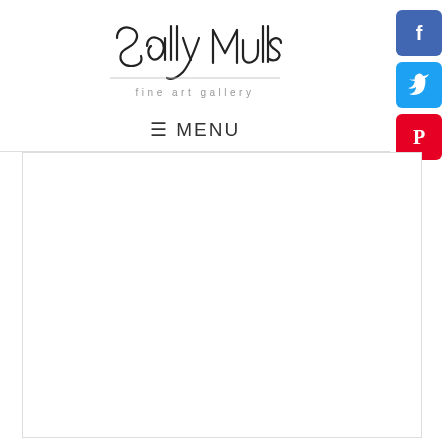[Figure (logo): Sally Mulls fine art gallery handwritten signature logo with tagline 'fine art gallery' below]
☰ MENU
[Figure (other): Social media icons: Facebook (blue), Twitter (light blue), Pinterest (red)]
[Figure (other): White content box with light border below the menu bar]